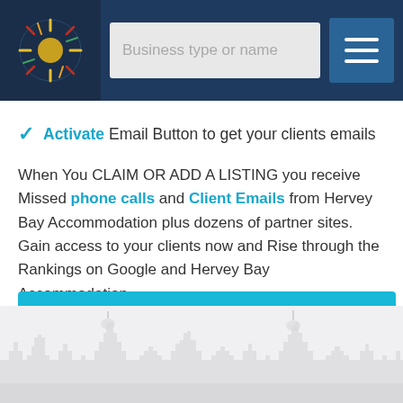[Figure (screenshot): Website navigation bar with logo, search field labeled 'Business type or name', and hamburger menu button on dark navy background]
✓ Activate Email Button to get your clients emails
When You CLAIM OR ADD A LISTING you receive Missed phone calls and Client Emails from Hervey Bay Accommodation plus dozens of partner sites. Gain access to your clients now and Rise through the Rankings on Google and Hervey Bay Accommodation.
[Figure (screenshot): Cyan/blue 'Claim Listing' call-to-action button]
[Figure (illustration): City skyline silhouette illustration in light grey on light background at the bottom of the page]